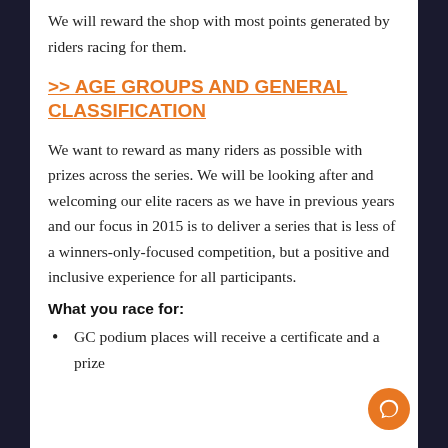We will reward the shop with most points generated by riders racing for them.
>> AGE GROUPS AND GENERAL CLASSIFICATION
We want to reward as many riders as possible with prizes across the series. We will be looking after and welcoming our elite racers as we have in previous years and our focus in 2015 is to deliver a series that is less of a winners-only-focused competition, but a positive and inclusive experience for all participants.
What you race for:
GC podium places will receive a certificate and a prize